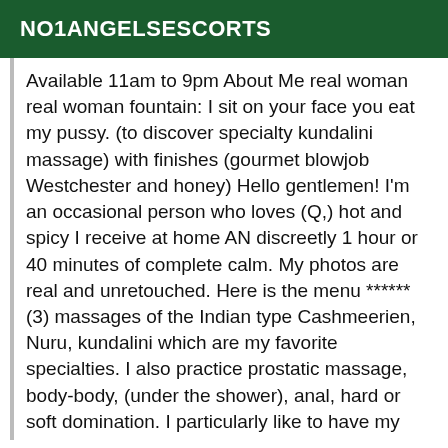NO1ANGELSESCORTS
Available 11am to 9pm About Me real woman real woman fountain: I sit on your face you eat my pussy. (to discover specialty kundalini massage) with finishes (gourmet blowjob Westchester and honey) Hello gentlemen! I'm an occasional person who loves (Q,) hot and spicy I receive at home AN discreetly 1 hour or 40 minutes of complete calm. My photos are real and unretouched. Here is the menu ****** (3) massages of the Indian type Cashmeerien, Nuru, kundalini which are my favorite specialties. I also practice prostatic massage, body-body, (under the shower), anal, hard or soft domination. I particularly like to have my pussy eaten so that it spurts abundantly in your mouth. Here are some infos to know before contacting me. I receive exclusively (real gentleman) mature, polite, respectful, educated and especially with an irreproachable (hygiene). You will receive the same in return. My schedules from 10 to 23 hours (only with an appointment